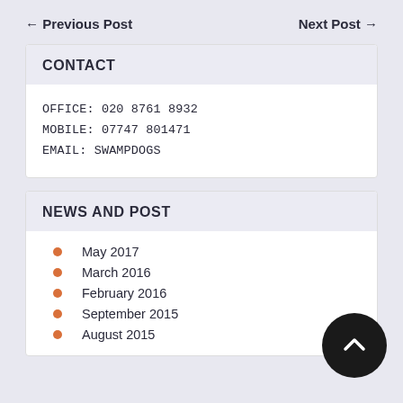← Previous Post    Next Post →
CONTACT
OFFICE: 020 8761 8932
MOBILE: 07747 801471
EMAIL: SWAMPDOGS
NEWS AND POST
May 2017
March 2016
February 2016
September 2015
August 2015